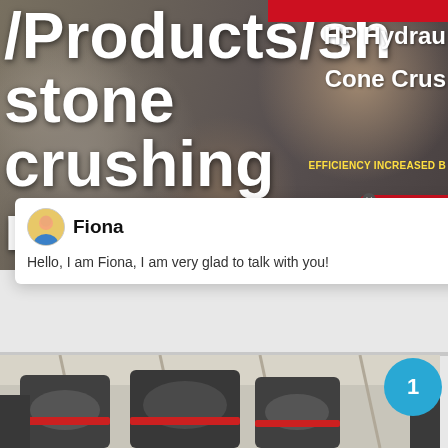[Figure (screenshot): Industrial stone crushing/cone crusher machinery website banner with large white bold text overlay on dark background showing industrial equipment. Red bar at top right. Text partially visible: '/Products/sh...' and 'stone crushing machine machine for sale Guam'. Right side shows 'Cone Crus' and 'EFFICIENCY INCREASED B' text. Red customer service widget on right side.]
[Figure (screenshot): White chat popup overlay with avatar icon of female agent named Fiona, with X close button. Message reads: Hello, I am Fiona, I am very glad to talk with you!]
Fiona
Hello, I am Fiona, I am very glad to talk with you!
[Figure (photo): Industrial cone crusher machine photographed inside a large factory building with steel frame structure. Machine is grey/black with red accent band. Multiple cone crusher units visible.]
1